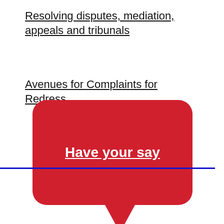Resolving disputes, mediation, appeals and tribunals
Avenues for Complaints for Redress
[Figure (illustration): Red speech bubble graphic with white bold underlined text 'Have your say' and a downward pointing tail at the bottom center]
Local Offer Accessibility Statement
Privacy Notice
Disclaimer